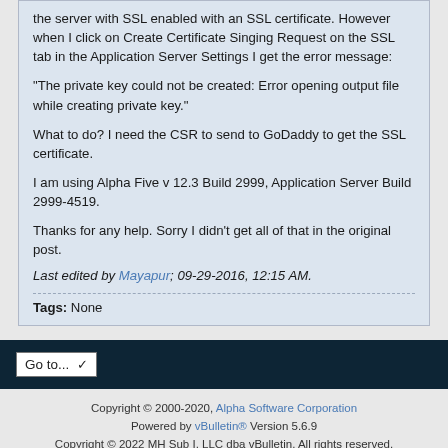the server with SSL enabled with an SSL certificate. However when I click on Create Certificate Singing Request on the SSL tab in the Application Server Settings I get the error message:

"The private key could not be created: Error opening output file while creating private key."

What to do? I need the CSR to send to GoDaddy to get the SSL certificate.

I am using Alpha Five v 12.3 Build 2999, Application Server Build 2999-4519.

Thanks for any help. Sorry I didn't get all of that in the original post.
Last edited by Mayapur; 09-29-2016, 12:15 AM.
Tags: None
Go to...
Copyright © 2000-2020, Alpha Software Corporation
Powered by vBulletin® Version 5.6.9
Copyright © 2022 MH Sub I, LLC dba vBulletin. All rights reserved.
All times are GMT-5. This page was generated at 10:47 AM.